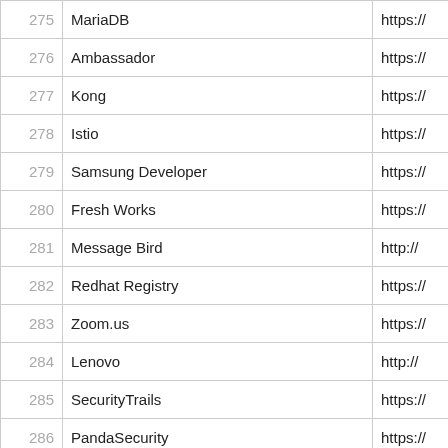| # | Name | URL |
| --- | --- | --- |
| 275 | MariaDB | https://... |
| 276 | Ambassador | https://... |
| 277 | Kong | https://... |
| 278 | Istio | https://... |
| 279 | Samsung Developer | https://... |
| 280 | Fresh Works | https://... |
| 281 | Message Bird | http://... |
| 282 | Redhat Registry | https://... |
| 283 | Zoom.us | https://... |
| 284 | Lenovo | http://... |
| 285 | SecurityTrails | https://... |
| 286 | PandaSecurity | https://... |
| 287 | Sophos | http://... |
| 288 | League | https://... |
| 289 | SightMachine | sightr... |